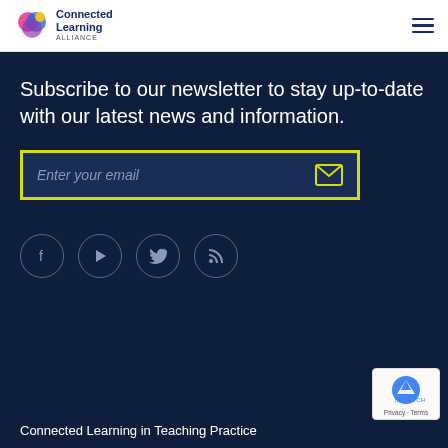Connected Learning Alliance
Subscribe to our newsletter to stay up-to-date with our latest news and information.
[Figure (screenshot): Email input field with yellow border and envelope icon, placeholder text 'Enter your email']
[Figure (infographic): Four social media icon circles: Facebook, Play/Video, Twitter, RSS feed]
Connected Learning in Teaching Practice